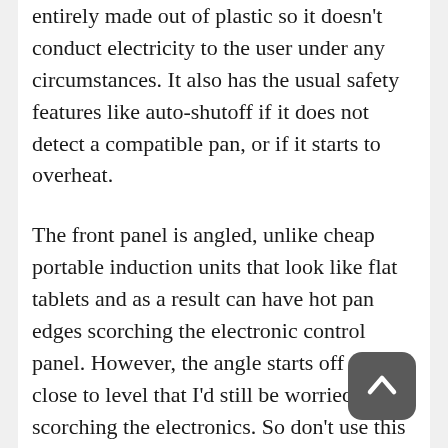entirely made out of plastic so it doesn't conduct electricity to the user under any circumstances. It also has the usual safety features like auto-shutoff if it does not detect a compatible pan, or if it starts to overheat.
The front panel is angled, unlike cheap portable induction units that look like flat tablets and as a result can have hot pan edges scorching the electronic control panel. However, the angle starts off so close to level that I'd still be worried about scorching the electronics. So don't use this induction cooker with large-diameter pans, not only because of the undersized coil, also because it may damage the front control panel.